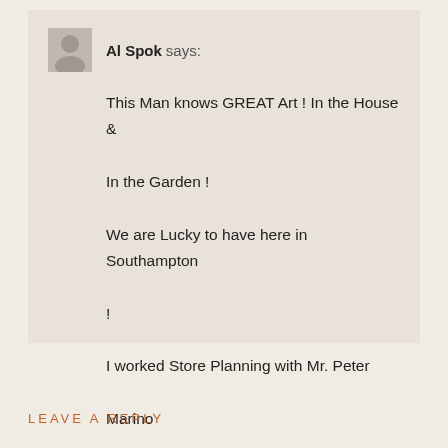Al Spok says:
This Man knows GREAT Art ! In the House & In the Garden !

We are Lucky to have here in Southampton !

I worked Store Planning with Mr. Peter Marino
June 30, 2021 at 20:48
Reply
LEAVE A REPLY